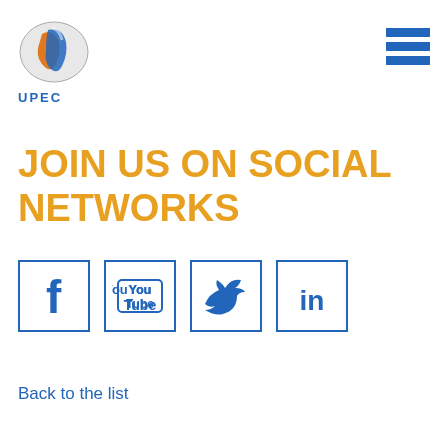[Figure (logo): UPEC logo: stylized blue and orange overlapping shapes, with text UPEC below in blue]
[Figure (other): Hamburger menu icon: three horizontal blue bars stacked]
JOIN US ON SOCIAL NETWORKS
[Figure (other): Four social media icons in blue-bordered square boxes: Facebook (f), YouTube (You Tube), Twitter (bird), LinkedIn (in)]
Back to the list